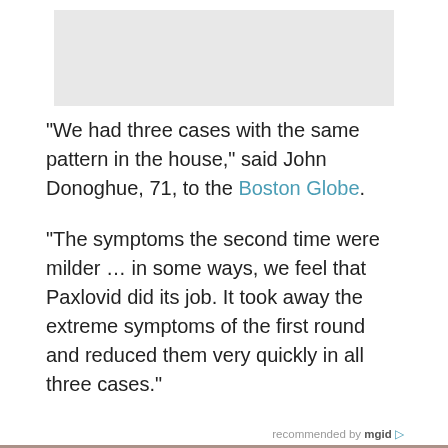[Figure (photo): Light gray rectangular image placeholder at the top of the page]
“We had three cases with the same pattern in the house,” said John Donoghue, 71, to the Boston Globe.
“The symptoms the second time were milder … in some ways, we feel that Paxlovid did its job. It took away the extreme symptoms of the first round and reduced them very quickly in all three cases.”
recommended by mgid
[Figure (photo): Partial photo of a person with dark hair, visible from top of head, with a dark horizontal stripe across the image]